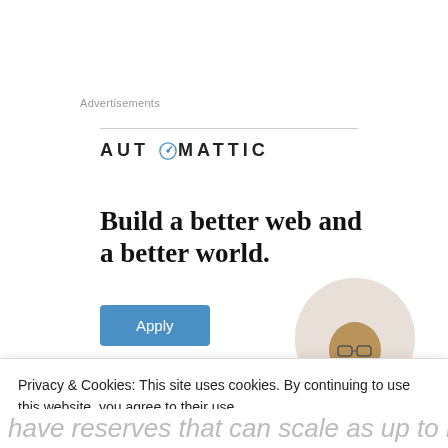Advertisements
[Figure (logo): Automattic company logo with compass icon replacing the letter O]
Build a better web and a better world.
[Figure (photo): Circular cropped photo of a man with glasses thinking]
Apply
Privacy & Cookies: This site uses cookies. By continuing to use this website, you agree to their use.
To find out more, including how to control cookies, see here:
Cookie Policy
Close and accept
have reserves that can scale as up to large